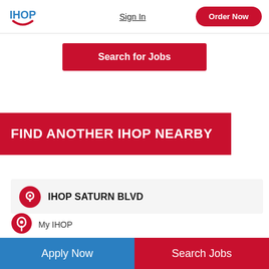[Figure (logo): IHOP logo with blue text and red smile arc]
Sign In
Order Now
Search for Jobs
FIND ANOTHER IHOP NEARBY
IHOP SATURN BLVD
My IHOP
Apply Now
Search Jobs